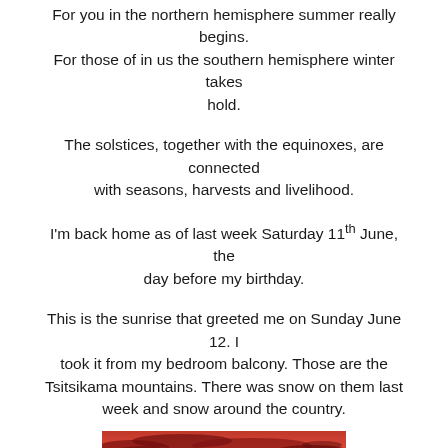For you in the northern hemisphere summer really begins. For those of in us the southern hemisphere winter takes hold.
The solstices, together with the equinoxes, are connected with seasons, harvests and livelihood.
I'm back home as of last week Saturday 11th June, the day before my birthday.
This is the sunrise that greeted me on Sunday June 12. I took it from my bedroom balcony. Those are the Tsitsikama mountains. There was snow on them last week and snow around the country.
[Figure (photo): A vibrant orange and red sunrise sky with clouds, taken from a bedroom balcony, showing the Tsitsikama mountains in the distance.]